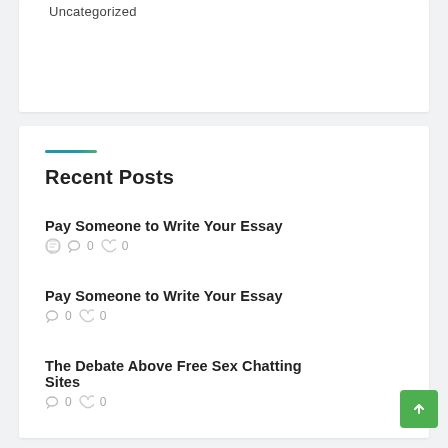Uncategorized
Recent Posts
Pay Someone to Write Your Essay
0  0
Pay Someone to Write Your Essay
0  0
The Debate Above Free Sex Chatting Sites
0  0